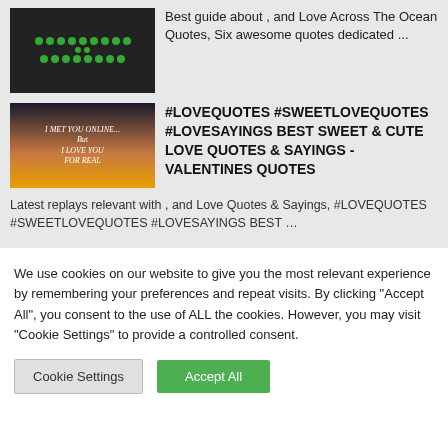Best guide about , and Love Across The Ocean Quotes, Six awesome quotes dedicated ...
[Figure (screenshot): Thumbnail showing anime characters with text 'I MET YOU ONLINE... BUT I LOVE YOU FOR REAL' on a sunset background]
#LOVEQUOTES #SWEETLOVEQUOTES #LOVESAYINGS BEST SWEET & CUTE LOVE QUOTES & SAYINGS - VALENTINES QUOTES
Latest replays relevant with , and Love Quotes & Sayings, #LOVEQUOTES #SWEETLOVEQUOTES #LOVESAYINGS BEST ...
We use cookies on our website to give you the most relevant experience by remembering your preferences and repeat visits. By clicking "Accept All", you consent to the use of ALL the cookies. However, you may visit "Cookie Settings" to provide a controlled consent.